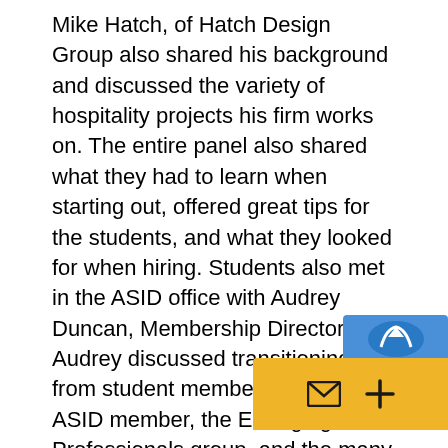Mike Hatch, of Hatch Design Group also shared his background and discussed the variety of hospitality projects his firm works on. The entire panel also shared what they had to learn when starting out, offered great tips for the students, and what they looked for when hiring. Students also met in the ASID office with Audrey Duncan, Membership Director. Audrey discussed transitioning from student member to Allied ASID member, the Emerging Professionals group, and the many benefits of belonging to ASID. Following the sessions, students were able to visit other showrooms.
Many thanks to everyone who helped mak[e this] day successful and special thanks to Crys[tal] Prag and the Laguna Design Center whic[h]
[Figure (other): Partially visible reCAPTCHA badge and a yellow action bar widget with an envelope icon and a plus icon, overlapping the bottom-right corner of the page.]